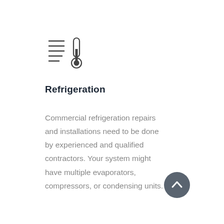[Figure (illustration): Icon showing lines (representing a list/menu) beside a thermometer, indicating refrigeration service category]
Refrigeration
Commercial refrigeration repairs and installations need to be done by experienced and qualified contractors. Your system might have multiple evaporators, compressors, or condensing units.
[Figure (illustration): Dark circular button with a chevron/upward arrow icon for scrolling up]